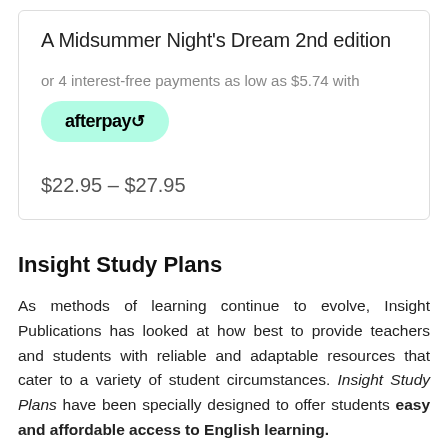A Midsummer Night's Dream 2nd edition
or 4 interest-free payments as low as $5.74 with
[Figure (logo): Afterpay logo button — mint green rounded rectangle with 'afterpay' text and arrow icon]
$22.95 – $27.95
Insight Study Plans
As methods of learning continue to evolve, Insight Publications has looked at how best to provide teachers and students with reliable and adaptable resources that cater to a variety of student circumstances. Insight Study Plans have been specially designed to offer students easy and affordable access to English learning.